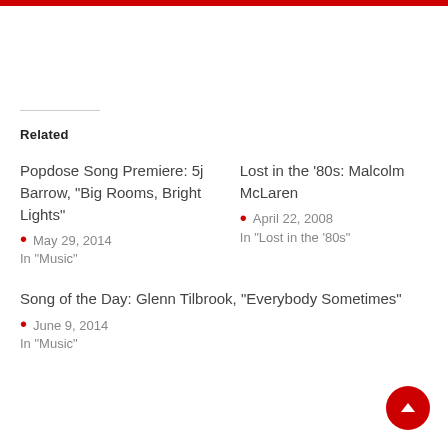Related
Popdose Song Premiere: 5j Barrow, “Big Rooms, Bright Lights”
May 29, 2014
In “Music”
Lost in the ’80s: Malcolm McLaren
April 22, 2008
In “Lost in the ’80s”
Song of the Day: Glenn Tilbrook, “Everybody Sometimes”
June 9, 2014
In “Music”